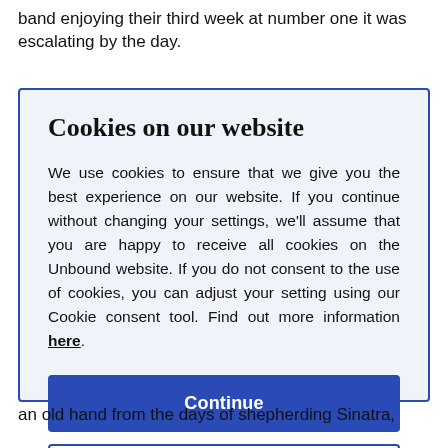band enjoying their third week at number one it was escalating by the day.
Cookies on our website
We use cookies to ensure that we give you the best experience on our website. If you continue without changing your settings, we'll assume that you are happy to receive all cookies on the Unbound website. If you do not consent to the use of cookies, you can adjust your setting using our Cookie consent tool. Find out more information here.
Continue
Change settings
an old hand from the days of shepherding Sinatra,